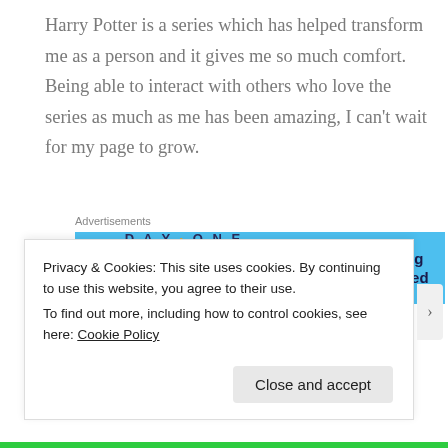Harry Potter is a series which has helped transform me as a person and it gives me so much comfort. Being able to interact with others who love the series as much as me has been amazing, I can't wait for my page to grow.
Advertisements
[Figure (screenshot): Day One journaling app advertisement banner with blue background showing app icons and text 'The only journaling app you'll ever need']
Privacy & Cookies: This site uses cookies. By continuing to use this website, you agree to their use.
To find out more, including how to control cookies, see here: Cookie Policy
Close and accept